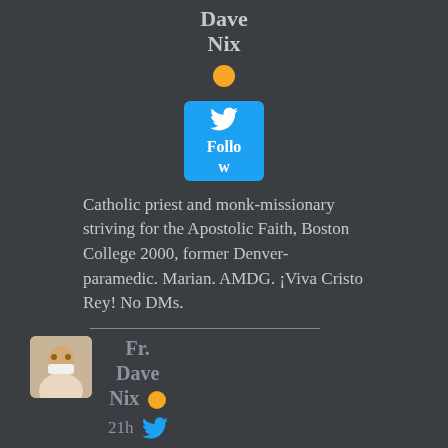Dave Nix
[Figure (other): Twitter Follow button (blue rounded rectangle with Twitter bird icon and 'Follow' text)]
Catholic priest and monk-missionary striving for the Apostolic Faith, Boston College 2000, former Denver-paramedic. Marian. AMDG. ¡Viva Cristo Rey! No DMs.
[Figure (photo): Profile photo thumbnail of Fr. Dave Nix, a man in clerical collar, small square photo]
Fr. Dave Nix 🟠 21h 🐦